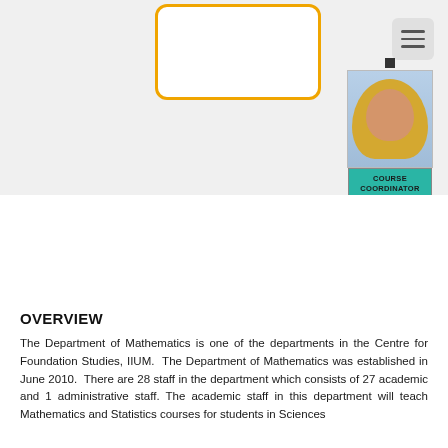[Figure (photo): Orange-bordered rounded rectangle box (UI card placeholder) in upper center area, with a hamburger/menu button icon in top right corner.]
[Figure (photo): Portrait photo of a woman wearing a hijab, displayed in a profile card with a 'COURSE COORDINATOR' teal label below the photo.]
OVERVIEW
The Department of Mathematics is one of the departments in the Centre for Foundation Studies, IIUM. The Department of Mathematics was established in June 2010. There are 28 staff in the department which consists of 27 academic and 1 administrative staff. The academic staff in this department will teach Mathematics and Statistics courses for students in Sciences